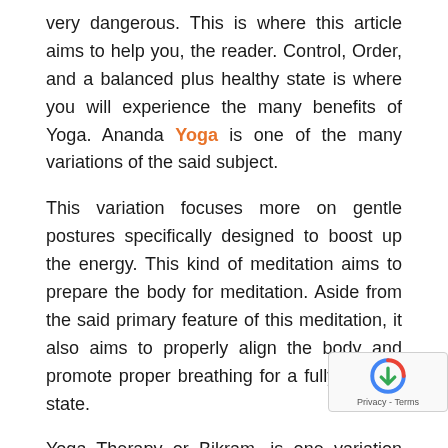very dangerous. This is where this article aims to help you, the reader. Control, Order, and a balanced plus healthy state is where you will experience the many benefits of Yoga. Ananda Yoga is one of the many variations of the said subject.
This variation focuses more on gentle postures specifically designed to boost up the energy. This kind of meditation aims to prepare the body for meditation. Aside from the said primary feature of this meditation, it also aims to properly align the body and promote proper breathing for a fully relaxed state.
Yoga Therapy or Bikram, is one variation aims at a comprehensive workout that is inclined